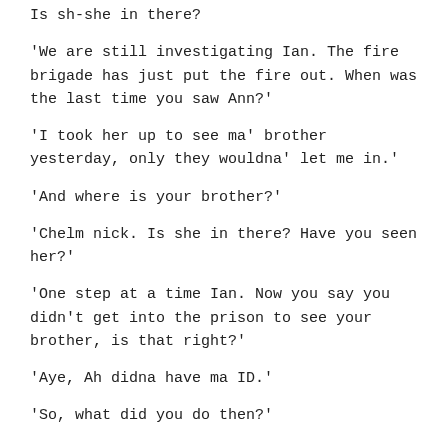Is sh-she in there?
'We are still investigating Ian. The fire brigade has just put the fire out. When was the last time you saw Ann?'
'I took her up to see ma' brother yesterday, only they wouldna' let me in.'
'And where is your brother?'
'Chelm nick. Is she in there? Have you seen her?'
'One step at a time Ian. Now you say you didn't get into the prison to see your brother, is that right?'
'Aye, Ah didna have ma ID.'
'So, what did you do then?'